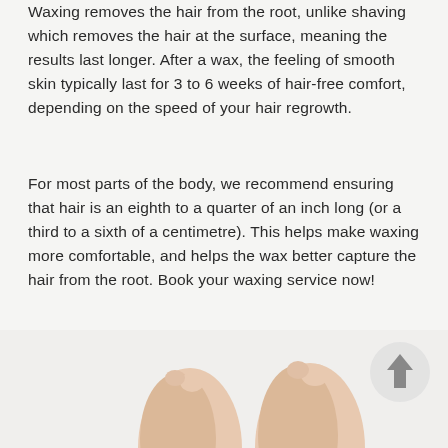Waxing removes the hair from the root, unlike shaving which removes the hair at the surface, meaning the results last longer. After a wax, the feeling of smooth skin typically last for 3 to 6 weeks of hair-free comfort, depending on the speed of your hair regrowth.
For most parts of the body, we recommend ensuring that hair is an eighth to a quarter of an inch long (or a third to a sixth of a centimetre). This helps make waxing more comfortable, and helps the wax better capture the hair from the root. Book your waxing service now!
[Figure (photo): Photo of feet/legs from below with a circular up-arrow button overlay in the bottom right area of the page.]